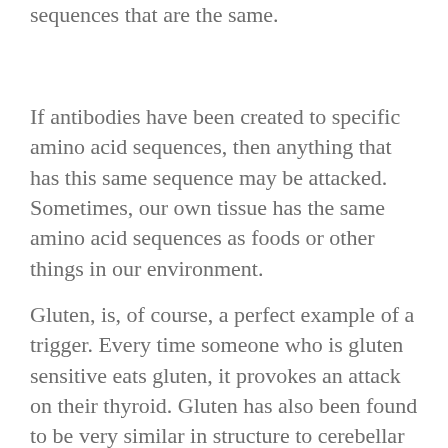sequences that are the same.
If antibodies have been created to specific amino acid sequences, then anything that has this same sequence may be attacked. Sometimes, our own tissue has the same amino acid sequences as foods or other things in our environment.
Gluten, is, of course, a perfect example of a trigger. Every time someone who is gluten sensitive eats gluten, it provokes an attack on their thyroid. Gluten has also been found to be very similar in structure to cerebellar tissue. So when you eat